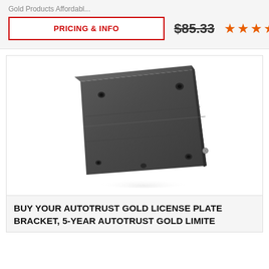Gold Products Affordabl...
PRICING & INFO
$85.33
★★★★★
[Figure (photo): Back view of a dark gray/black license plate bracket with mounting holes and screw fittings, shown at an angle against a white background.]
BUY YOUR AUTOTRUST GOLD LICENSE PLATE BRACKET, 5-YEAR AUTOTRUST GOLD LIMITE